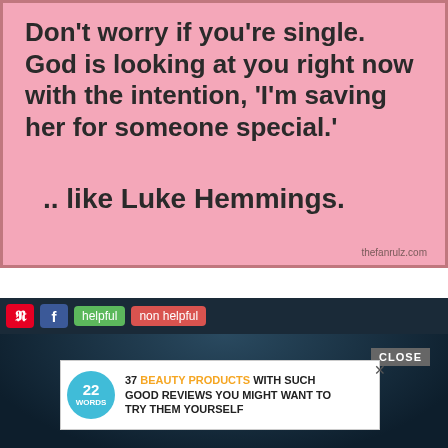[Figure (illustration): Pink background motivational/inspirational quote image with bold black text reading: Don't worry if you're single. God is looking at you right now with the intention, 'I'm saving her for someone special.' .. like Luke Hemmings. Watermark: thefanrulz.com]
[Figure (screenshot): Dark blue/teal background image with social toolbar showing Pinterest and Facebook share buttons, 'helpful' and 'non helpful' rating buttons, a '22 Words' advertisement banner for '37 BEAUTY PRODUCTS WITH SUCH GOOD REVIEWS YOU MIGHT WANT TO TRY THEM YOURSELF', a CLOSE button, and partial text 'Isn't a status.' in white at the bottom.]